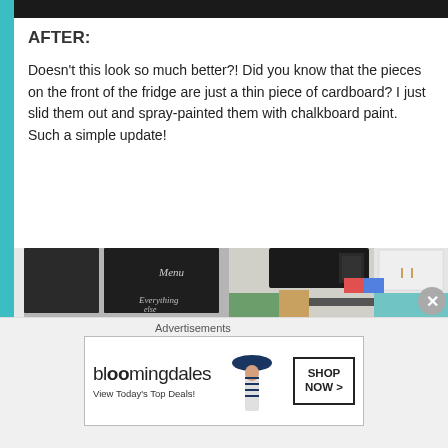AFTER:
Doesn't this look so much better?! Did you know that the pieces on the front of the fridge are just a thin piece of cardboard? I just slid them out and spray-painted them with chalkboard paint. Such a simple update!
[Figure (photo): Kitchen photo showing a refrigerator with chalkboard-painted front panels with 'Menu' and 'Everything else' written in chalk. The right side shows white cabinets with a built-in black microwave and shelving with various items.]
Advertisements
[Figure (other): Bloomingdale's advertisement banner showing logo, 'View Today's Top Deals!' tagline, a woman wearing a large hat, and a 'SHOP NOW >' call-to-action button.]